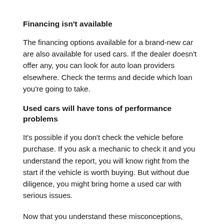Financing isn't available
The financing options available for a brand-new car are also available for used cars. If the dealer doesn't offer any, you can look for auto loan providers elsewhere. Check the terms and decide which loan you're going to take.
Used cars will have tons of performance problems
It's possible if you don't check the vehicle before purchase. If you ask a mechanic to check it and you understand the report, you will know right from the start if the vehicle is worth buying. But without due diligence, you might bring home a used car with serious issues.
Now that you understand these misconceptions,